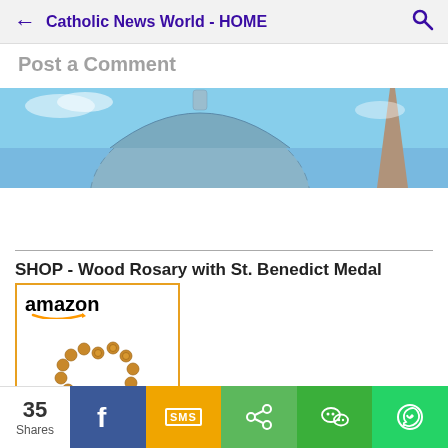Catholic News World - HOME
Post a Comment
[Figure (photo): Vatican St. Peter's Basilica dome and obelisk against blue sky]
SHOP - Wood Rosary with St. Benedict Medal
[Figure (photo): Amazon product listing showing a wood rosary with St. Benedict Medal cross]
35 Shares | Facebook | SMS | Share | WeChat | WhatsApp